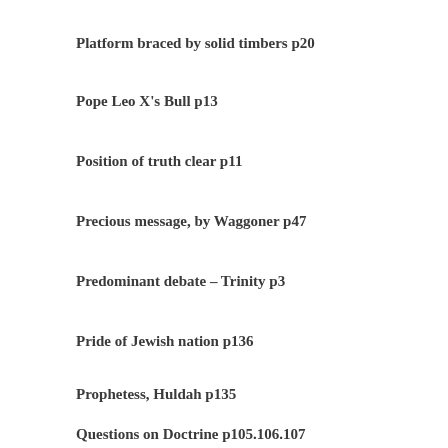Platform braced by solid timbers p20
Pope Leo X's Bull p13
Position of truth clear p11
Precious message, by Waggoner p47
Predominant debate – Trinity p3
Pride of Jewish nation p136
Prophetess, Huldah p135
Questions on Doctrine p105.106.107